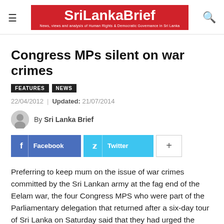SriLankaBrief — News, views and analysis of Human Rights & Democratic Governance in Sri Lanka
Congress MPs silent on war crimes
FEATURES  NEWS
22/04/2012  |  Updated: 21/07/2014
By Sri Lanka Brief
Preferring to keep mum on the issue of war crimes committed by the Sri Lankan army at the fag end of the Eelam war, the four Congress MPS who were part of the Parliamentary delegation that returned after a six-day tour of Sri Lanka on Saturday said that they had urged the Lankan President Mahinda Rajapaksa to resettle the displaced Tamils and expedite the implementation of the 13th